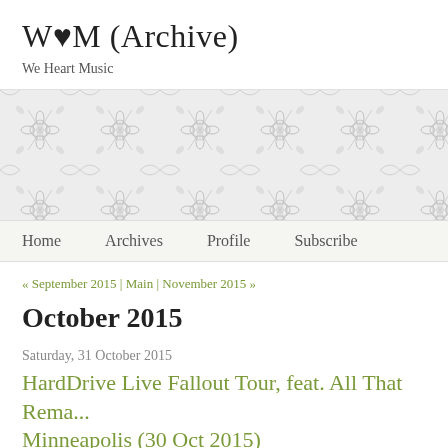W♥M (Archive)
We Heart Music
[Figure (illustration): Decorative damask/floral pattern band in light grey]
Home   Archives   Profile   Subscribe
« September 2015 | Main | November 2015 »
October 2015
Saturday, 31 October 2015
HardDrive Live Fallout Tour, feat. All That Rema... Minneapolis (30 Oct 2015)
The HardDrive Live Fallout Tour, featuring co-headliners We Came As R... recently played the Skyway Theatre in Minneapolis on Friday (October 30...